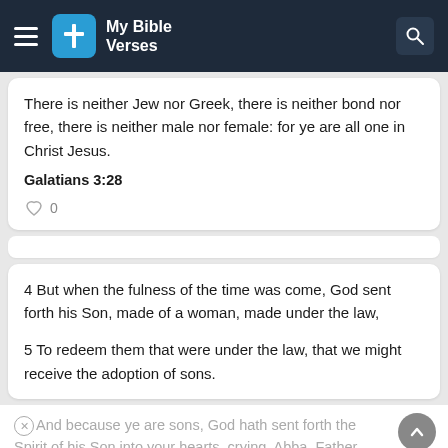My Bible Verses
There is neither Jew nor Greek, there is neither bond nor free, there is neither male nor female: for ye are all one in Christ Jesus.
Galatians 3:28
0
4 But when the fulness of the time was come, God sent forth his Son, made of a woman, made under the law,
5 To redeem them that were under the law, that we might receive the adoption of sons.
And because ye are sons, God hath sent forth the Spirit of his Son into your hearts, crying, Abba, Father.